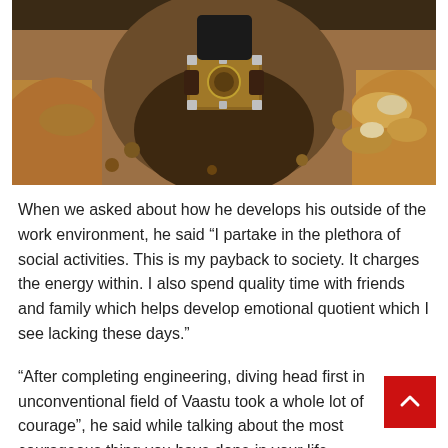[Figure (photo): A person standing in a deep excavated pit or trench in reddish-brown soil, holding what appears to be a wooden framed object or instrument. Large mounds of excavated earth and rocks are visible around the pit.]
When we asked about how he develops his outside of the work environment, he said “I partake in the plethora of social activities. This is my payback to society. It charges the energy within. I also spend quality time with friends and family which helps develop emotional quotient which I see lacking these days.”
“After completing engineering, diving head first in unconventional field of Vaastu took a whole lot of courage”, he said while talking about the most courageous thing you have done in your life.